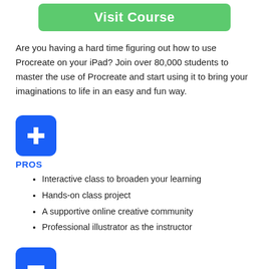[Figure (other): Green 'Visit Course' button]
Are you having a hard time figuring out how to use Procreate on your iPad? Join over 80,000 students to master the use of Procreate and start using it to bring your imaginations to life in an easy and fun way.
[Figure (illustration): Blue rounded square icon with a white plus sign, labeled PROS]
Interactive class to broaden your learning
Hands-on class project
A supportive online creative community
Professional illustrator as the instructor
[Figure (illustration): Blue rounded square icon with a white minus sign, labeled CONS (partially visible)]